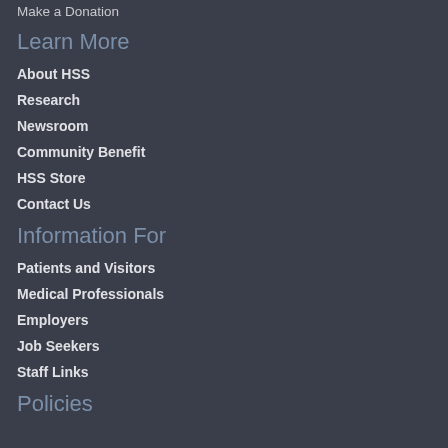Make a Donation
Learn More
About HSS
Research
Newsroom
Community Benefit
HSS Store
Contact Us
Information For
Patients and Visitors
Medical Professionals
Employers
Job Seekers
Staff Links
Policies